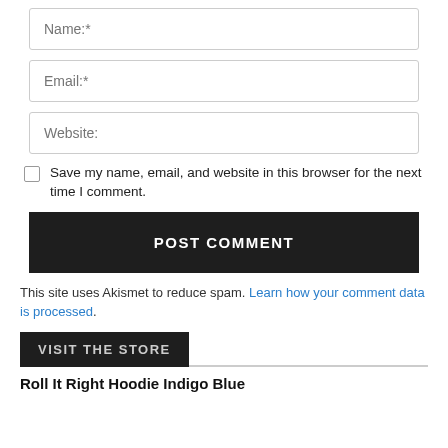Name:*
Email:*
Website:
Save my name, email, and website in this browser for the next time I comment.
POST COMMENT
This site uses Akismet to reduce spam. Learn how your comment data is processed.
VISIT THE STORE
Roll It Right Hoodie Indigo Blue